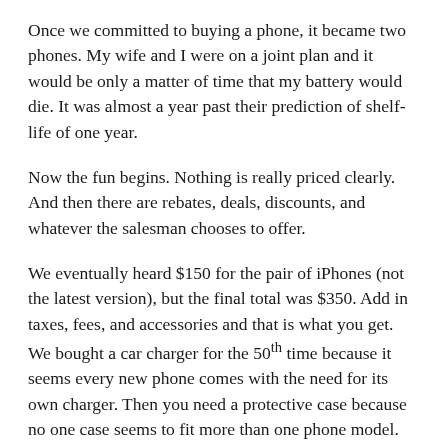Once we committed to buying a phone, it became two phones. My wife and I were on a joint plan and it would be only a matter of time that my battery would die. It was almost a year past their prediction of shelf-life of one year.
Now the fun begins. Nothing is really priced clearly. And then there are rebates, deals, discounts, and whatever the salesman chooses to offer.
We eventually heard $150 for the pair of iPhones (not the latest version), but the final total was $350. Add in taxes, fees, and accessories and that is what you get. We bought a car charger for the 50th time because it seems every new phone comes with the need for its own charger. Then you need a protective case because no one case seems to fit more than one phone model. You need screen protectors, too. It is a nickel and dime city. This is what frustrates me about the entire experience – you need to tune out everything and wait to hear a final number. It is never as good as you thought it would be.
One of the charges was a $30 upgrade fee. I didn't get rewarded for renewing my long contract with them nor did I get thanked for